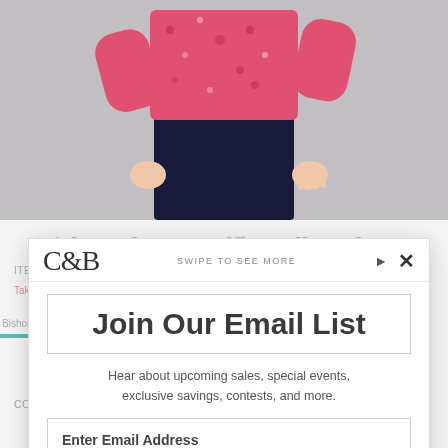[Figure (photo): Background of a retail website showing a model wearing a pink floral blouse with dark jeans, cropped at torso level. Behind a modal popup overlay.]
Join Our Email List
Hear about upcoming sales, special events, exclusive savings, contests, and more.
Enter Email Address
SIGN UP FOR EMAILS
Privacy Policy